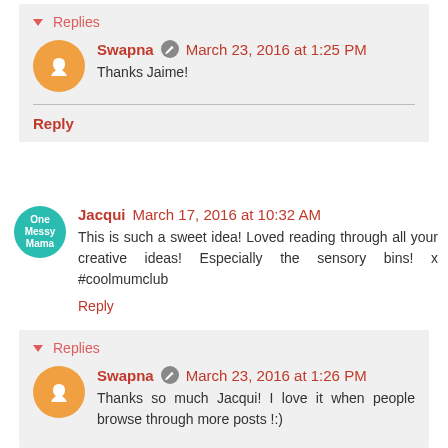Replies
Swapna  March 23, 2016 at 1:25 PM
Thanks Jaime!
Reply
Jacqui  March 17, 2016 at 10:32 AM
This is such a sweet idea! Loved reading through all your creative ideas! Especially the sensory bins! x #coolmumclub
Reply
Replies
Swapna  March 23, 2016 at 1:26 PM
Thanks so much Jacqui! I love it when people browse through more posts !:)